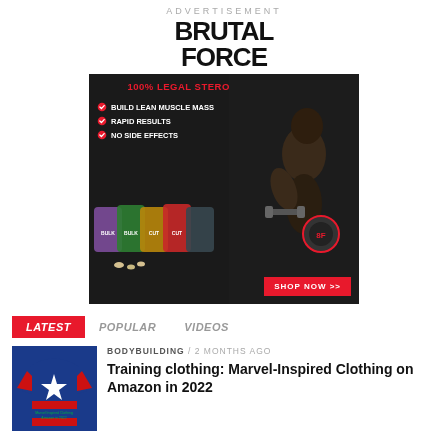ADVERTISEMENT
[Figure (logo): Brutal Force logo in bold black uppercase text]
[Figure (infographic): Brutal Force advertisement banner. Dark background with red headline '100% LEGAL STEROID ALTERNATIVES', bullet points: BUILD LEAN MUSCLE MASS, RAPID RESULTS, NO SIDE EFFECTS. Shows product supplement bags and muscular bodybuilder. Red SHOP NOW >> button.]
LATEST  POPULAR  VIDEOS
BODYBUILDING / 2 months ago
Training clothing: Marvel-Inspired Clothing on Amazon in 2022
[Figure (photo): Captain America inspired training shirt with star design, red white and blue colors]